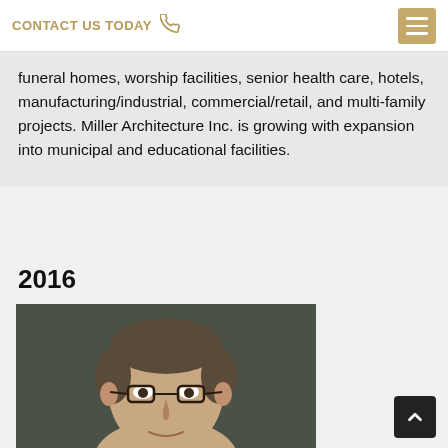CONTACT US TODAY
funeral homes, worship facilities, senior health care, hotels, manufacturing/industrial, commercial/retail, and multi-family projects. Miller Architecture Inc. is growing with expansion into municipal and educational facilities.
2016
[Figure (photo): Headshot of a middle-aged man with short dark hair wearing glasses, against a dark grey/greenish background]